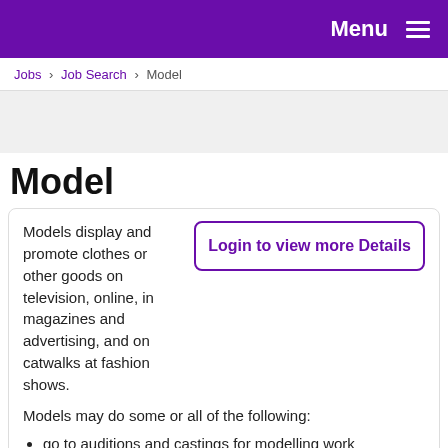Menu
Jobs › Job Search › Model
Model
Models display and promote clothes or other goods on television, online, in magazines and advertising, and on catwalks at fashion shows.
Login to view more Details
Models may do some or all of the following:
go to auditions and castings for modelling work
sit for make-up and hair stylists